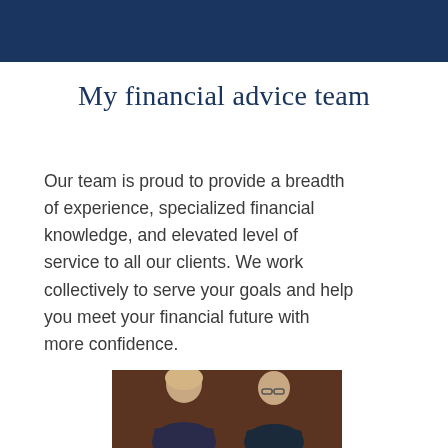My financial advice team
Our team is proud to provide a breadth of experience, specialized financial knowledge, and elevated level of service to all our clients. We work collectively to serve your goals and help you meet your financial future with more confidence.
[Figure (photo): Team photo showing two people (a woman and a man) against a dark brown background, partially visible at the bottom of the page.]